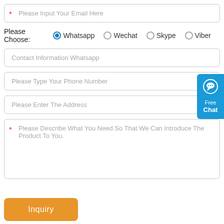* Please Input Your Email Here
Please Choose: Whatsapp (selected) Wechat Skype Viber
Contact Information Whatsapp
Please Type Your Phone Number
Please Enter The Address
* Please Describe What You Need So That We Can Introduce The Product To You.
[Figure (other): Free Chat button widget on the right side, blue background with chat bubble icon, text 'Free Chat']
Inquiry